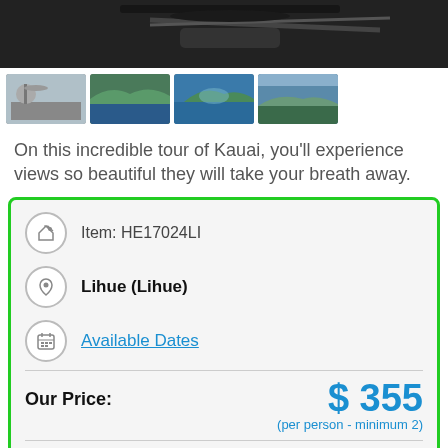[Figure (photo): Main hero image of helicopter/aircraft against dark background]
[Figure (photo): Four thumbnail images showing Kauai helicopter tour views: helicopter on ground, coastal cliffs, ocean bay, aerial landscape]
On this incredible tour of Kauai, you'll experience views so beautiful they will take your breath away.
Item: HE17024LI
Lihue (Lihue)
Available Dates
Our Price:
$ 355
(per person - minimum 2)
✔ Lowest Price Guarantee
Starting at $33/mo with affirm.
Prequalify now